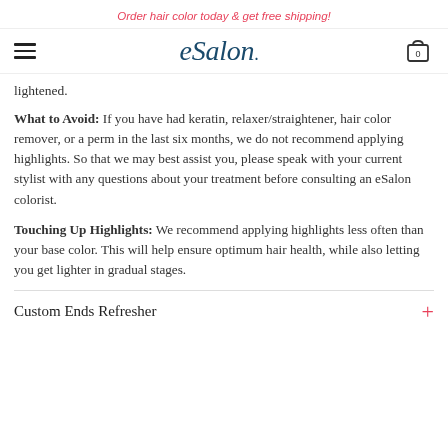Order hair color today & get free shipping!
[Figure (logo): eSalon logo in dark teal italic script font, with hamburger menu icon on the left and shopping cart icon (showing 0) on the right]
lightened.
What to Avoid: If you have had keratin, relaxer/straightener, hair color remover, or a perm in the last six months, we do not recommend applying highlights. So that we may best assist you, please speak with your current stylist with any questions about your treatment before consulting an eSalon colorist.
Touching Up Highlights: We recommend applying highlights less often than your base color. This will help ensure optimum hair health, while also letting you get lighter in gradual stages.
Custom Ends Refresher